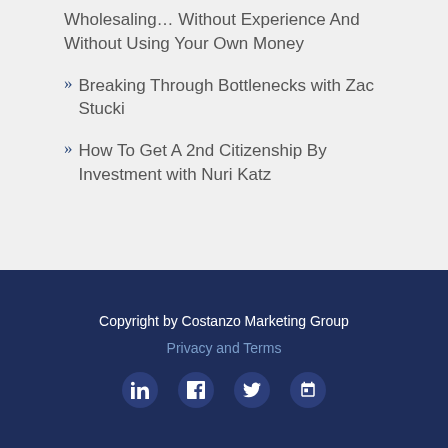Wholesaling… Without Experience And Without Using Your Own Money
» Breaking Through Bottlenecks with Zac Stucki
» How To Get A 2nd Citizenship By Investment with Nuri Katz
Copyright by Costanzo Marketing Group
Privacy and Terms